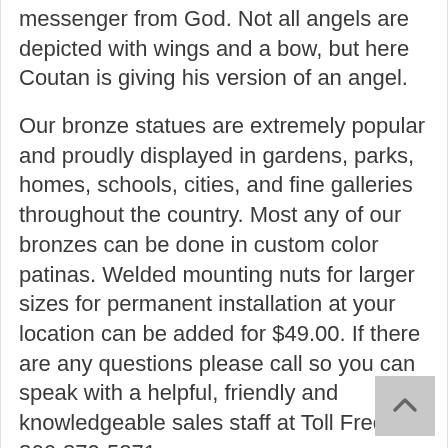messenger from God. Not all angels are depicted with wings and a bow, but here Coutan is giving his version of an angel.
Our bronze statues are extremely popular and proudly displayed in gardens, parks, homes, schools, cities, and fine galleries throughout the country. Most any of our bronzes can be done in custom color patinas. Welded mounting nuts for larger sizes for permanent installation at your location can be added for $49.00. If there are any questions please call so you can speak with a helpful, friendly and knowledgeable sales staff at Toll Free.1-866-870-5271.
This NEW bronze statue is hand finished and cast in the traditional Lost Wax Casting Process. This is a multi step process that insures a quality bronze sculpture that may be passed down from generation to generation.